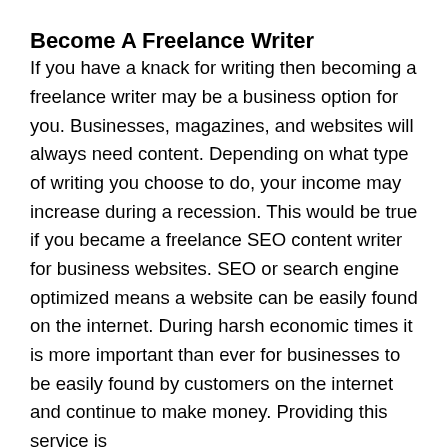Become A Freelance Writer
If you have a knack for writing then becoming a freelance writer may be a business option for you. Businesses, magazines, and websites will always need content. Depending on what type of writing you choose to do, your income may increase during a recession. This would be true if you became a freelance SEO content writer for business websites. SEO or search engine optimized means a website can be easily found on the internet. During harsh economic times it is more important than ever for businesses to be easily found by customers on the internet and continue to make money. Providing this service is